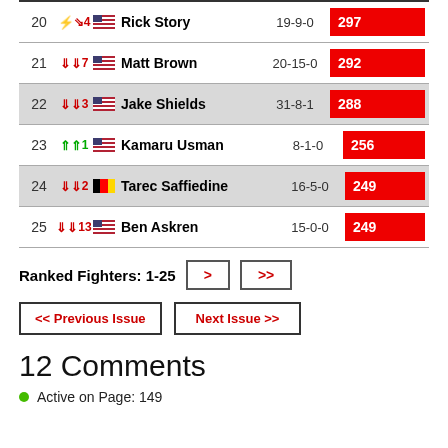| Rank | Change | Fighter | Record | Score |
| --- | --- | --- | --- | --- |
| 20 | ↓4 | Rick Story | 19-9-0 | 297 |
| 21 | ↓7 | Matt Brown | 20-15-0 | 292 |
| 22 | ↓3 | Jake Shields | 31-8-1 | 288 |
| 23 | ↑1 | Kamaru Usman | 8-1-0 | 256 |
| 24 | ↓2 | Tarec Saffiedine | 16-5-0 | 249 |
| 25 | ↓13 | Ben Askren | 15-0-0 | 249 |
Ranked Fighters: 1-25  >  >>
<< Previous Issue   Next Issue >>
12 Comments
Active on Page: 149